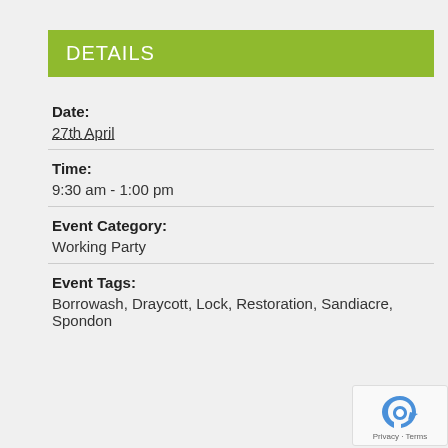DETAILS
Date:
27th April
Time:
9:30 am - 1:00 pm
Event Category:
Working Party
Event Tags:
Borrowash, Draycott, Lock, Restoration, Sandiacre, Spondon